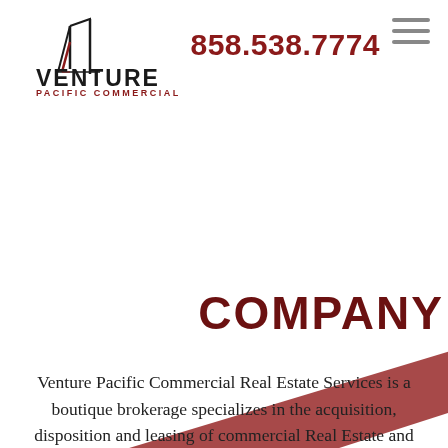[Figure (logo): Venture Pacific Commercial Real Estate Services logo with stylized building silhouette]
858.538.7774
[Figure (illustration): Diagonal dark red/maroon band running from lower-left to upper-right across the page]
COMPANY
Venture Pacific Commercial Real Estate Services is a boutique brokerage specializes in the acquisition, disposition and leasing of commercial Real Estate and